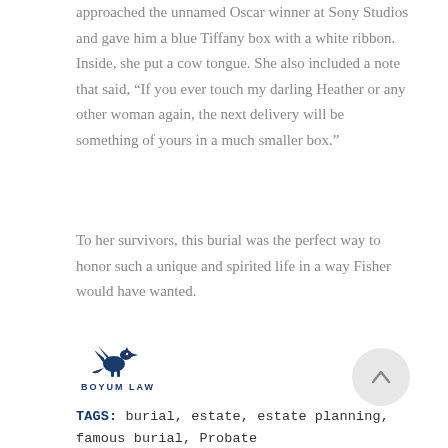approached the unnamed Oscar winner at Sony Studios and gave him a blue Tiffany box with a white ribbon. Inside, she put a cow tongue. She also included a note that said, “If you ever touch my darling Heather or any other woman again, the next delivery will be something of yours in a much smaller box.”
To her survivors, this burial was the perfect way to honor such a unique and spirited life in a way Fisher would have wanted.
[Figure (logo): Boyum Law logo with a dark blue griffin/pegasus icon above the text BOYUM LAW]
[Figure (other): Circular scroll-to-top button with an upward arrow]
TAGS: burial, estate, estate planning, famous burial, Probate